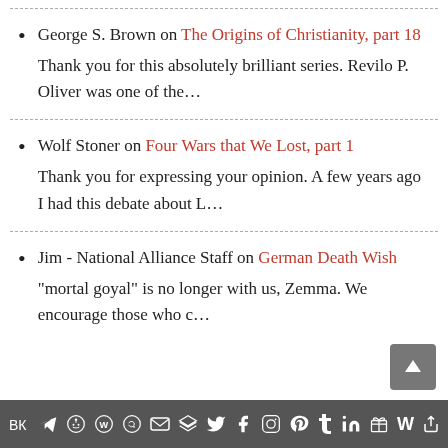George S. Brown on The Origins of Christianity, part 18
Thank you for this absolutely brilliant series. Revilo P. Oliver was one of the…
Wolf Stoner on Four Wars that We Lost, part 1
Thank you for expressing your opinion. A few years ago I had this debate about L…
Jim - National Alliance Staff on German Death Wish
"mortal goyal" is no longer with us, Zemma. We encourage those who c…
Social share icons bar